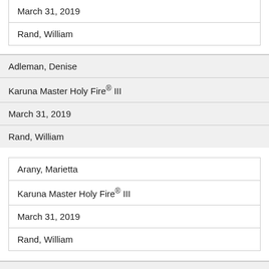| March 31, 2019 |
| Rand, William |
| Adleman, Denise |
| Karuna Master Holy Fire® III |
| March 31, 2019 |
| Rand, William |
| Arany, Marietta |
| Karuna Master Holy Fire® III |
| March 31, 2019 |
| Rand, William |
Abbate, Siyonn